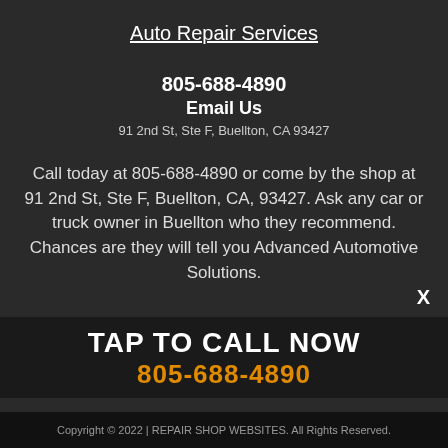Auto Repair Services
805-688-4890
Email Us
91 2nd St, Ste F, Buellton, CA 93427
Call today at 805-688-4890 or come by the shop at 91 2nd St, Ste F, Buellton, CA, 93427. Ask any car or truck owner in Buellton who they recommend. Chances are they will tell you Advanced Automotive Solutions.
TAP TO CALL NOW
805-688-4890
[Figure (other): Payment method icons: American Express, Cash, Checks, ATM, Discover, Mastercard, Visa]
Copyright © 2022  | REPAIR SHOP WEBSITES. All Rights Reserved.